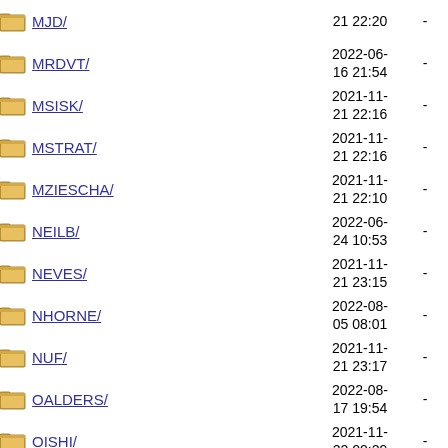MJD/ 21 22:20 -
MRDVT/ 2022-06-16 21:54 -
MSISK/ 2021-11-21 22:16 -
MSTRAT/ 2021-11-21 22:16 -
MZIESCHA/ 2021-11-21 22:10 -
NEILB/ 2022-06-24 10:53 -
NEVES/ 2021-11-21 23:15 -
NHORNE/ 2022-08-05 08:01 -
NUF/ 2021-11-21 23:17 -
OALDERS/ 2022-08-17 19:54 -
OISHI/ 2021-11-22 00:29 -
PERLANCAR/ 2022-08-...